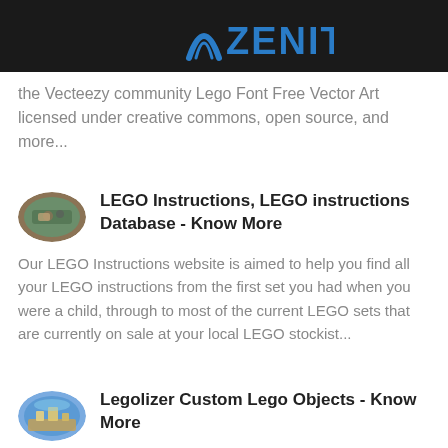ZENIT
the Vecteezy community Lego Font Free Vector Art licensed under creative commons, open source, and more...
LEGO Instructions, LEGO instructions Database - Know More
Our LEGO Instructions website is aimed to help you find all your LEGO instructions from the first set you had when you were a child, through to most of the current LEGO sets that are currently on sale at your local LEGO stockist...
Legolizer Custom Lego Objects - Know More